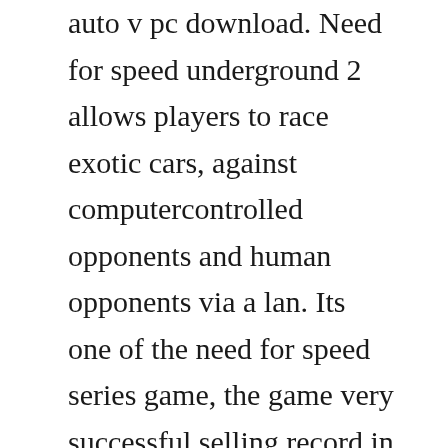auto v pc download. Need for speed underground 2 allows players to race exotic cars, against computercontrolled opponents and human opponents via a lan. Its one of the need for speed series game, the game very successful selling record in united kingdom. Underground 2 is unique in the need for speed series, where players must travel to a specific area of the city to start a race in other games, players can choose a race from a menu. You will also get here some of screenshots so you can see what game is this and system requirements. May 22, 2018 need for speed